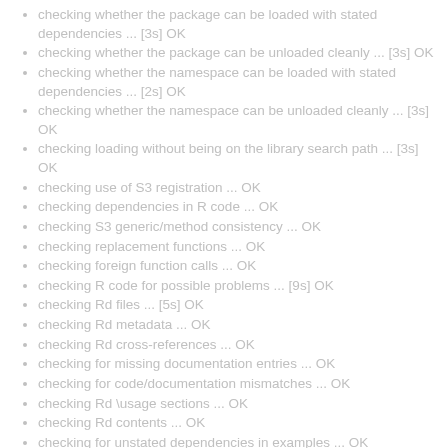checking whether the package can be loaded with stated dependencies ... [3s] OK
checking whether the package can be unloaded cleanly ... [3s] OK
checking whether the namespace can be loaded with stated dependencies ... [2s] OK
checking whether the namespace can be unloaded cleanly ... [3s] OK
checking loading without being on the library search path ... [3s] OK
checking use of S3 registration ... OK
checking dependencies in R code ... OK
checking S3 generic/method consistency ... OK
checking replacement functions ... OK
checking foreign function calls ... OK
checking R code for possible problems ... [9s] OK
checking Rd files ... [5s] OK
checking Rd metadata ... OK
checking Rd cross-references ... OK
checking for missing documentation entries ... OK
checking for code/documentation mismatches ... OK
checking Rd \usage sections ... OK
checking Rd contents ... OK
checking for unstated dependencies in examples ... OK
checking contents of 'data' directory ... OK